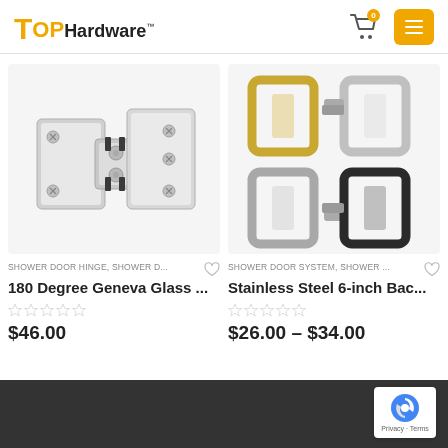TopHardware
[Figure (photo): Silver/chrome shower door hinge, 180 degree glass-to-glass mount]
SHOWER DOOR HINGE, SHOWER D...
180 Degree Geneva Glass ...
$46.00
[Figure (photo): Four stainless steel 6-inch back-to-back door handles in gold, silver, brushed silver, and black finishes]
SHOWER DOOR SYSTEM, SHOWER ...
Stainless Steel 6-inch Bac...
$26.00 – $34.00
Privacy · Terms